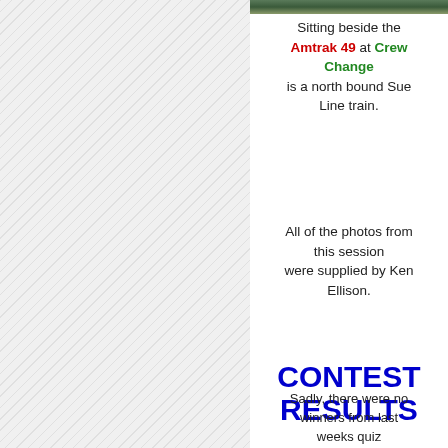[Figure (photo): Photo strip at top right showing outdoor/nature scene]
Sitting beside the Amtrak 49 at Crew Change is a north bound Sue Line train.
All of the photos from this session were supplied by Ken Ellison.
CONTEST RESULTS
Sadly, there were no winners from last weeks quiz and it is being held open for another